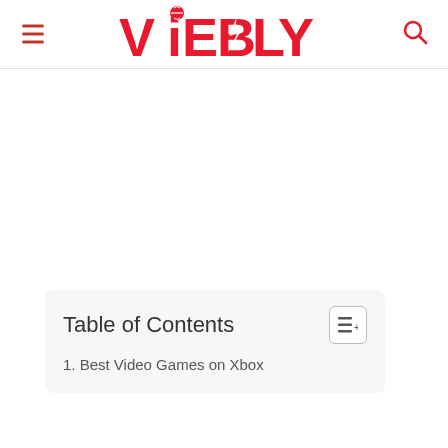ViEBLY
Table of Contents
1. Best Video Games on Xbox